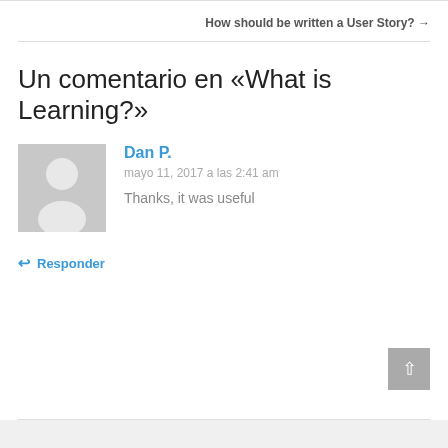How should be written a User Story? →
Un comentario en «What is Learning?»
Dan P.
mayo 11, 2017 a las 2:41 am
Thanks, it was useful
Responder